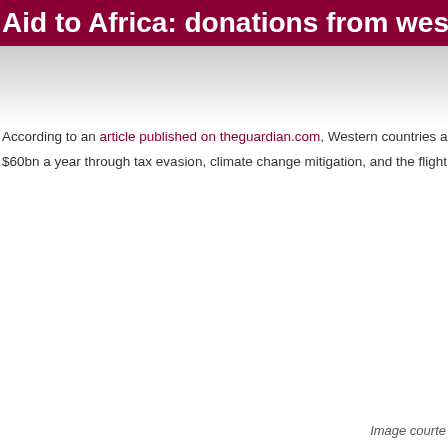Aid to Africa: donations from west mas
According to an article published on theguardian.com, Western countries are using a $60bn a year through tax evasion, climate change mitigation, and the flight of profits
Image courte